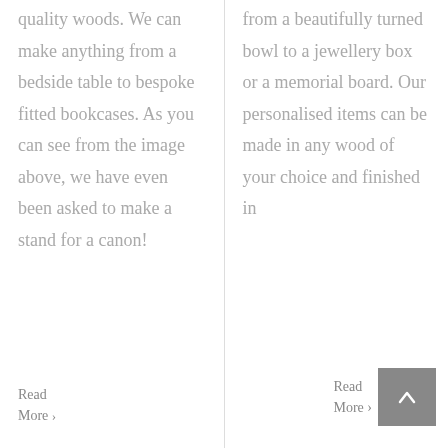quality woods. We can make anything from a bedside table to bespoke fitted bookcases. As you can see from the image above, we have even been asked to make a stand for a canon!
Read More ›
from a beautifully turned bowl to a jewellery box or a memorial board. Our personalised items can be made in any wood of your choice and finished in
Read More ›